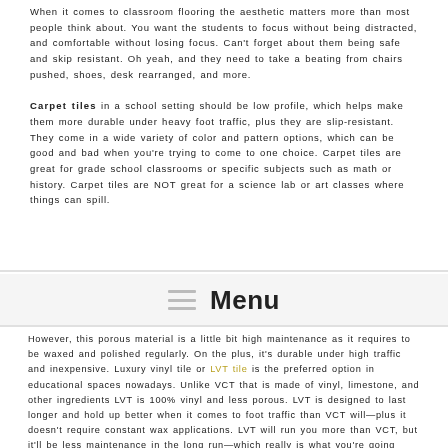When it comes to classroom flooring the aesthetic matters more than most people think about. You want the students to focus without being distracted, and comfortable without losing focus. Can't forget about them being safe and skip resistant. Oh yeah, and they need to take a beating from chairs pushed, shoes, desk rearranged, and more.
Carpet tiles in a school setting should be low profile, which helps make them more durable under heavy foot traffic, plus they are slip-resistant. They come in a wide variety of color and pattern options, which can be good and bad when you're trying to come to one choice. Carpet tiles are great for grade school classrooms or specific subjects such as math or history. Carpet tiles are NOT great for a science lab or art classes where things can spill.
Menu
However, this porous material is a little bit high maintenance as it requires to be waxed and polished regularly. On the plus, it's durable under high traffic and inexpensive. Luxury vinyl tile or LVT tile is the preferred option in educational spaces nowadays. Unlike VCT that is made of vinyl, limestone, and other ingredients LVT is 100% vinyl and less porous. LVT is designed to last longer and hold up better when it comes to foot traffic than VCT will—plus it doesn't require constant wax applications. LVT will run you more than VCT, but it'll be less maintenance in the long run—which really is what you're going after anyway.